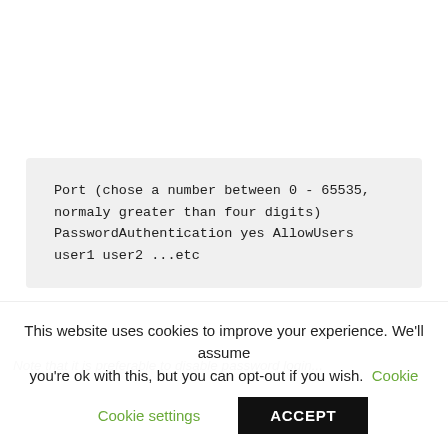Port (chose a number between 0 - 65535, normaly greater than four digits) PasswordAuthentication yes AllowUsers user1 user2 ...etc
Note that it is preferable to disable password login...
This website uses cookies to improve your experience. We'll assume you're ok with this, but you can opt-out if you wish. Cookie settings ACCEPT